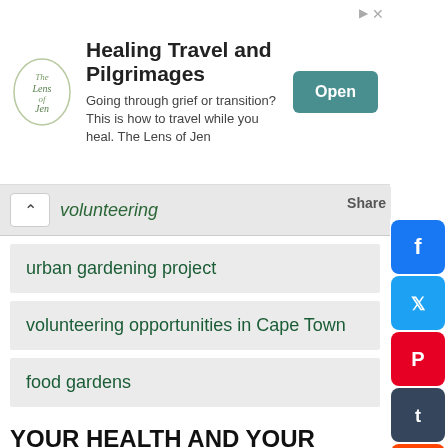[Figure (infographic): Advertisement banner for 'Healing Travel and Pilgrimages' with logo, tagline, and Open button]
volunteering
urban gardening project
volunteering opportunities in Cape Town
food gardens
YOUR HEALTH AND YOUR GARDEN
healthy living